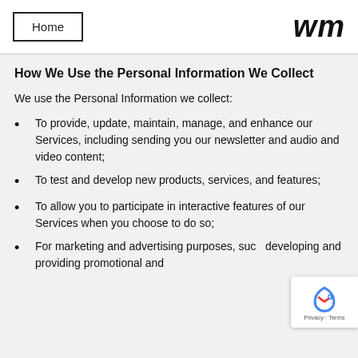Home
How We Use the Personal Information We Collect
We use the Personal Information we collect:
To provide, update, maintain, manage, and enhance our Services, including sending you our newsletter and audio and video content;
To test and develop new products, services, and features;
To allow you to participate in interactive features of our Services when you choose to do so;
For marketing and advertising purposes, such as developing and providing promotional and